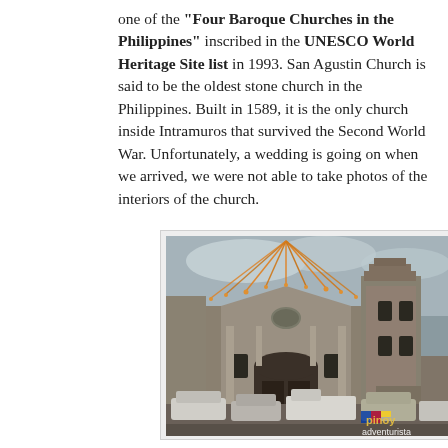one of the "Four Baroque Churches in the Philippines" inscribed in the UNESCO World Heritage Site list in 1993. San Agustin Church is said to be the oldest stone church in the Philippines. Built in 1589, it is the only church inside Intramuros that survived the Second World War. Unfortunately, a wedding is going on when we arrived, we were not able to take photos of the interiors of the church.
[Figure (photo): Exterior photograph of San Agustin Church, a large stone baroque church facade with a bell tower, decorative streamers radiating from the top, and cars parked in the foreground. Watermark reads 'pinoy adventurista'.]